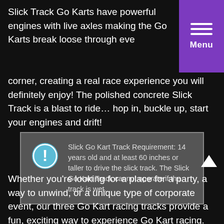Slick Track Go Karts have powerful engines with live axles making the Go Karts break loose through every corner, creating a real race experience you will definitely enjoy! The polished concrete Slick Track is a blast to ride… hop in, buckle up, start your engines and drift!
[Figure (infographic): Gray box with blue info/warning icon and text: Slick Go Kart Track Requirement: 14 years old and at least 60 inches or taller to drive the slick track. The Slick Go Kart Track cannot operate if the track is wet.]
Whether you're looking for a place for a party, a way to unwind, or a unique type of corporate event, our three Go Kart racing tracks provide a fun, exciting way to experience Go Kart racing.  Go Karts are a great addition to your child's Castle Fun Center Birthday Party too!